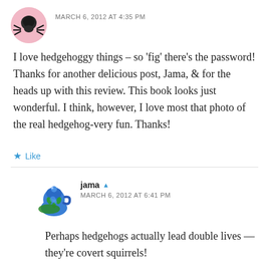MARCH 6, 2012 AT 4:35 PM
I love hedgehoggy things – so 'fig' there's the password! Thanks for another delicious post, Jama, & for the heads up with this review. This book looks just wonderful. I think, however, I love most that photo of the real hedgehog-very fun. Thanks!
★ Like
jama  MARCH 6, 2012 AT 6:41 PM
Perhaps hedgehogs actually lead double lives — they're covert squirrels!